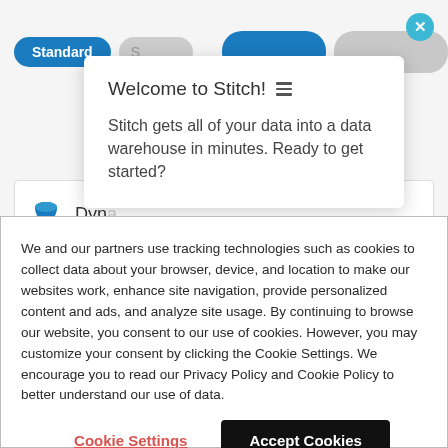[Figure (screenshot): Partial screenshot of a web UI showing Standard and other pill-shaped tab buttons, and a close X button in teal circle, and a tooltip popup card saying 'Welcome to Stitch!' with hamburger icon and text about data warehouse, plus a partially visible row with a Dynamo icon.]
Welcome to Stitch! Stitch gets all of your data into a data warehouse in minutes. Ready to get started?
We and our partners use tracking technologies such as cookies to collect data about your browser, device, and location to make our websites work, enhance site navigation, provide personalized content and ads, and analyze site usage. By continuing to browse our website, you consent to our use of cookies. However, you may customize your consent by clicking the Cookie Settings. We encourage you to read our Privacy Policy and Cookie Policy to better understand our use of data.
Cookie Settings
Accept Cookies